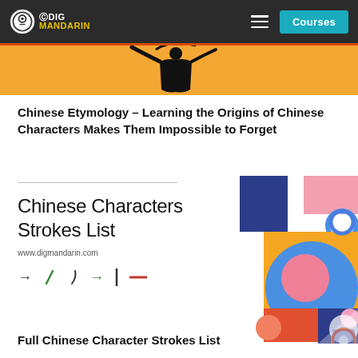Dig Mandarin — Courses
[Figure (illustration): Orange banner with Chinese calligraphy figure in black ink]
Chinese Etymology – Learning the Origins of Chinese Characters Makes Them Impossible to Forget
[Figure (illustration): Chinese Characters Strokes List card with geometric abstract art on right side and stroke symbols at bottom]
Full Chinese Character Strokes List